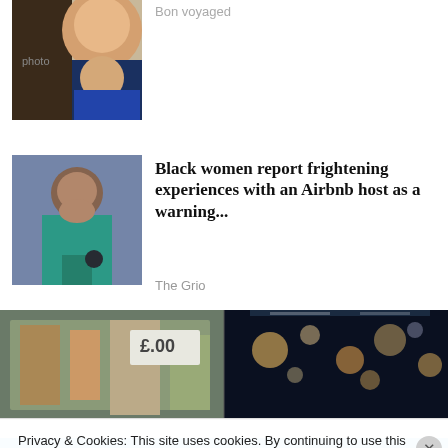[Figure (photo): Partial view of a woman smiling, cropped at top]
Bon voyaged
[Figure (photo): Black woman in green bikini top on beach holding phone, looking at camera with concerned expression]
Black women report frightening experiences with an Airbnb host as a warning...
The Grio
[Figure (photo): Wide banner image: left side shows outdoor market/store shelves, right side shows bokeh city lights at night]
Privacy & Cookies: This site uses cookies. By continuing to use this website, you agree to their use.
To find out more, including how to control cookies, see here: Cookie Policy
Close and accept